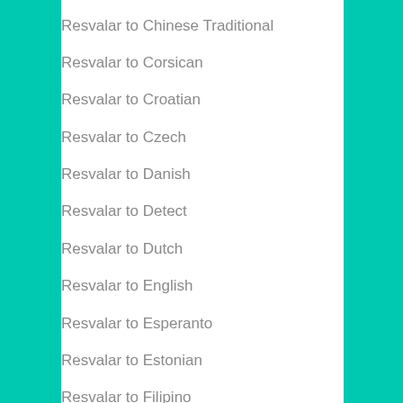Resvalar to Chinese Traditional
Resvalar to Corsican
Resvalar to Croatian
Resvalar to Czech
Resvalar to Danish
Resvalar to Detect
Resvalar to Dutch
Resvalar to English
Resvalar to Esperanto
Resvalar to Estonian
Resvalar to Filipino
Resvalar to Finnish
Resvalar to French
Resvalar to Frisian